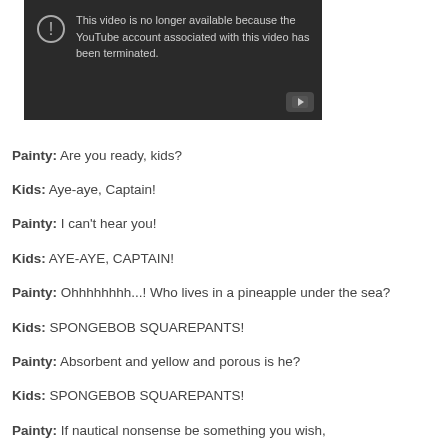[Figure (screenshot): YouTube video unavailable error screen showing a dark background with an exclamation icon and text: 'This video is no longer available because the YouTube account associated with this video has been terminated.' with YouTube logo button at bottom right]
Painty: Are you ready, kids?
Kids: Aye-aye, Captain!
Painty: I can't hear you!
Kids: AYE-AYE, CAPTAIN!
Painty: Ohhhhhhhh...! Who lives in a pineapple under the sea?
Kids: SPONGEBOB SQUAREPANTS!
Painty: Absorbent and yellow and porous is he?
Kids: SPONGEBOB SQUAREPANTS!
Painty: If nautical nonsense be something you wish,
Kids: SPONGEBOB SQUAREPANTS!
Painty: Then drop on the deck and flop like a fish!
Kids: SPONGEBOB SQUAREPANTS!
Painty: Ready?
Painty and Kids: SPONGEBOB SQUAREPANTS!